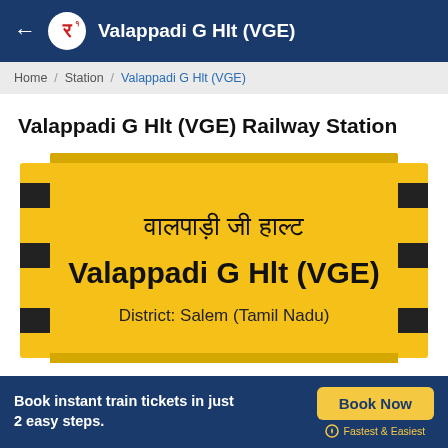Valappadi G Hlt (VGE)
Home / Station / Valappadi G Hlt (VGE)
Valappadi G Hlt (VGE) Railway Station
[Figure (illustration): Indian railway station name board illustration showing: Hindi text 'वालपाड़ी जी हाल्ट', English name 'Valappadi G Hlt (VGE)', and 'District: Salem (Tamil Nadu)'. Yellow board with black striped pillars on each side.]
Book instant train tickets in just 2 easy steps.